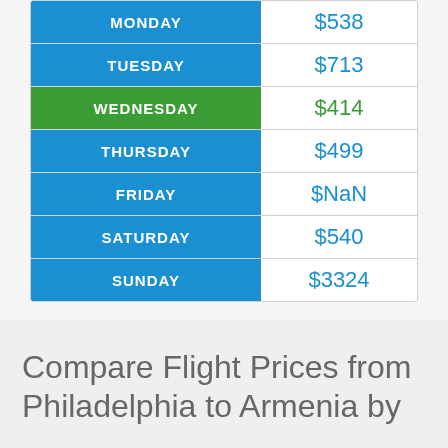| Day | Price |
| --- | --- |
| MONDAY | $538 |
| TUESDAY | $713 |
| WEDNESDAY | $414 |
| THURSDAY | $499 |
| FRIDAY | $NaN |
| SATURDAY | $540 |
| SUNDAY | $3324 |
Compare Flight Prices from Philadelphia to Armenia by